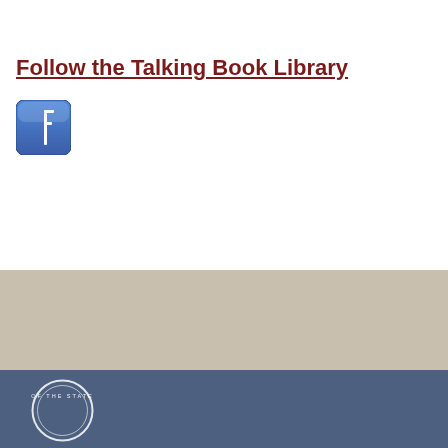Follow the Talking Book Library
[Figure (logo): Facebook logo icon — blue rounded square with white letter F]
[Figure (logo): State seal partially visible at bottom — circular white emblem on dark blue footer background with text 'OF THE STATE']